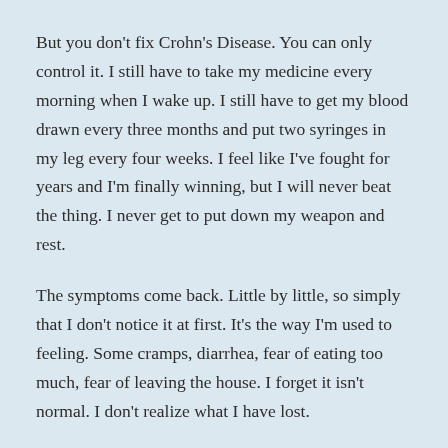But you don't fix Crohn's Disease. You can only control it. I still have to take my medicine every morning when I wake up. I still have to get my blood drawn every three months and put two syringes in my leg every four weeks. I feel like I've fought for years and I'm finally winning, but I will never beat the thing. I never get to put down my weapon and rest.
The symptoms come back. Little by little, so simply that I don't notice it at first. It's the way I'm used to feeling. Some cramps, diarrhea, fear of eating too much, fear of leaving the house. I forget it isn't normal. I don't realize what I have lost.
The ants come back too. But this time in fewer numbers.